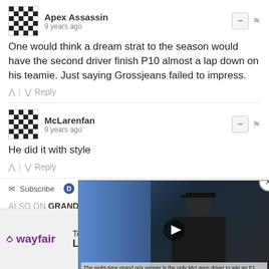Apex Assassin
9 years ago
One would think a dream strat to the season would have the second driver finish P10 almost a lap down on his teamie. Just saying Grossjeans failed to impress.
^ | v Reply
McLarenfan
9 years ago
He did it with style
^ | v Reply
Subscribe  Add Disqus  Do Not
ALSO ON GRAND PRIX 247
[Figure (screenshot): Video popup overlay showing a Formula 1 driver with SI logo and caption text about eight-time grand prix winner being the only McLaren driver to win an F1 race in the last decade, now a free agent]
[Figure (screenshot): Wayfair advertisement banner with Top Appliances Low Prices text, appliance image, and Shop now button]